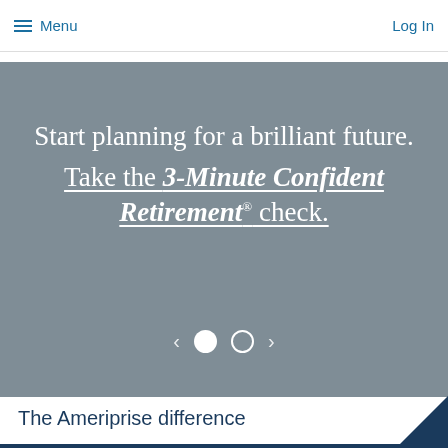Menu   Log In
Start planning for a brilliant future. Take the 3-Minute Confident Retirement® check.
[Figure (other): Carousel navigation controls with left arrow, filled dot, empty dot, and right arrow on grey hero background]
The Ameriprise difference